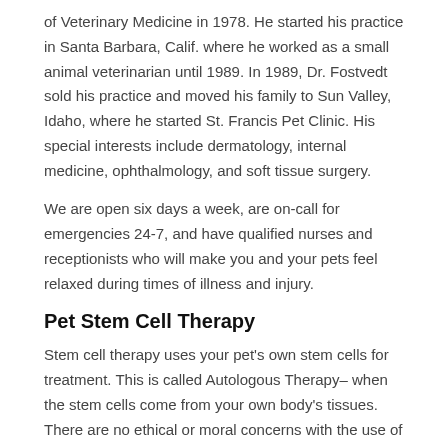of Veterinary Medicine in 1978. He started his practice in Santa Barbara, Calif. where he worked as a small animal veterinarian until 1989. In 1989, Dr. Fostvedt sold his practice and moved his family to Sun Valley, Idaho, where he started St. Francis Pet Clinic. His special interests include dermatology, internal medicine, ophthalmology, and soft tissue surgery.
We are open six days a week, are on-call for emergencies 24-7, and have qualified nurses and receptionists who will make you and your pets feel relaxed during times of illness and injury.
Pet Stem Cell Therapy
Stem cell therapy uses your pet's own stem cells for treatment. This is called Autologous Therapy– when the stem cells come from your own body's tissues. There are no ethical or moral concerns with the use of stem cells